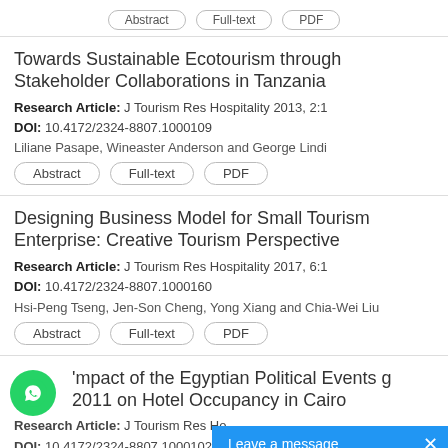[Figure (other): Top bar with three pill/button shapes (Abstract, Full-text, PDF) from previous article entry]
Towards Sustainable Ecotourism through Stakeholder Collaborations in Tanzania
Research Article: J Tourism Res Hospitality 2013, 2:1
DOI: 10.4172/2324-8807.1000109
Liliane Pasape, Wineaster Anderson and George Lindi
Abstract  Full-text  PDF
Designing Business Model for Small Tourism Enterprise: Creative Tourism Perspective
Research Article: J Tourism Res Hospitality 2017, 6:1
DOI: 10.4172/2324-8807.1000160
Hsi-Peng Tseng, Jen-Son Cheng, Yong Xiang and Chia-Wei Liu
Abstract  Full-text  PDF
Impact of the Egyptian Political Events g 2011 on Hotel Occupancy in Cairo
Research Article: J Tourism Res Ho
DOI: 10.4172/2324-8807.100010